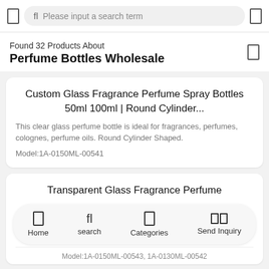Please input a search term
Found 32 Products About
Perfume Bottles Wholesale
Custom Glass Fragrance Perfume Spray Bottles 50ml 100ml | Round Cylinder...
This clear glass perfume bottle is ideal for fragrances, perfumes, colognes, perfume oils. Round Cylinder Shaped.
Model:1A-0150ML-00541
Transparent Glass Fragrance Perfume
Home  search  Categories  Send Inquiry
Model:1A-0150ML-00543, 1A-0130ML-00542